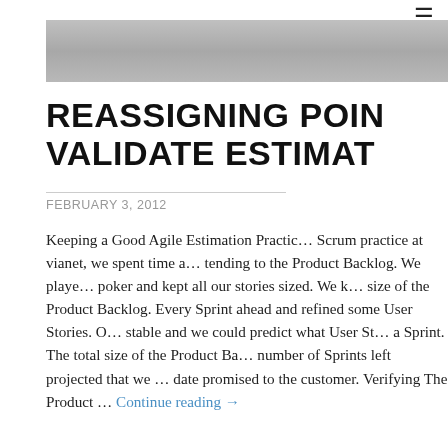≡
[Figure (photo): Gray hero/banner image at top of blog post]
REASSIGNING POINTS TO VALIDATE ESTIMATES
FEBRUARY 3, 2012
Keeping a Good Agile Estimation Practice. As part of our Scrum practice at vianet, we spent time attending to the Product Backlog. We played poker and kept all our stories sized. We kept size of the Product Backlog. Every Sprint ahead and refined some User Stories. Our stable and we could predict what User Stories a Sprint. The total size of the Product Backlog number of Sprints left projected that we would date promised to the customer. Verifying The Product ... Continue reading →